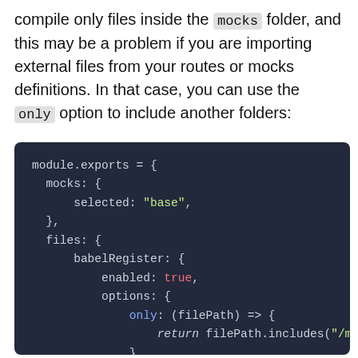compile only files inside the mocks folder, and this may be a problem if you are importing external files from your routes or mocks definitions. In that case, you can use the only option to include another folders:
[Figure (screenshot): Dark-themed code block showing a module.exports JavaScript/Node.js configuration object with mocks, files, babelRegister, enabled, options, and only (filePath) => { return filePath.includes('/mocks/') } properties.]